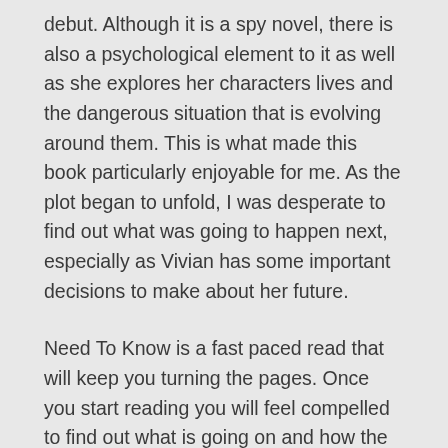debut. Although it is a spy novel, there is also a psychological element to it as well as she explores her characters lives and the dangerous situation that is evolving around them. This is what made this book particularly enjoyable for me. As the plot began to unfold, I was desperate to find out what was going to happen next, especially as Vivian has some important decisions to make about her future.
Need To Know is a fast paced read that will keep you turning the pages. Once you start reading you will feel compelled to find out what is going on and how the events the characters are facing will unfold. Hugely gripping and exceptionally well written. I can't wait to see what Karen Cleveland writes next. Thank you to Anne Cater for the opportunity to join the blog tour and